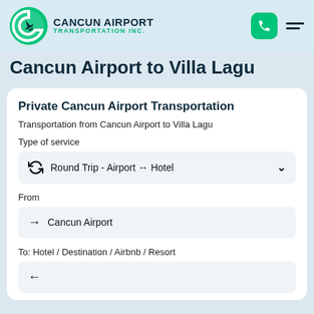Cancun Airport Transportation Inc.
Cancun Airport to Villa Lagu
Private Cancun Airport Transportation
Transportation from Cancun Airport to Villa Lagu
Type of service
Round Trip - Airport ↔ Hotel
From
Cancun Airport
To: Hotel / Destination / Airbnb / Resort